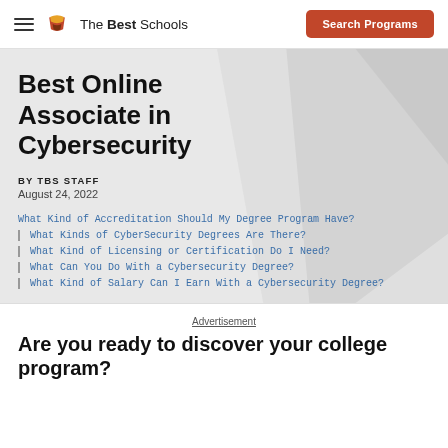The Best Schools | Search Programs
Best Online Associate in Cybersecurity
BY TBS STAFF
August 24, 2022
What Kind of Accreditation Should My Degree Program Have?
What Kinds of CyberSecurity Degrees Are There?
What Kind of Licensing or Certification Do I Need?
What Can You Do With a Cybersecurity Degree?
What Kind of Salary Can I Earn With a Cybersecurity Degree?
Advertisement
Are you ready to discover your college program?